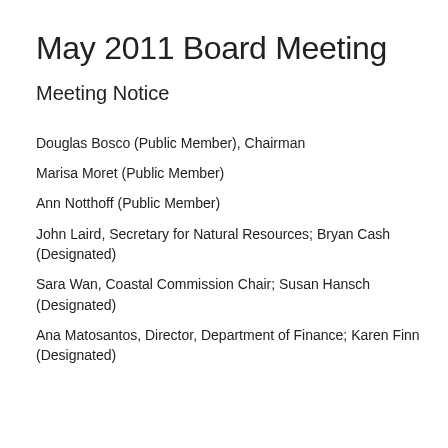May 2011 Board Meeting
Meeting Notice
Douglas Bosco (Public Member), Chairman
Marisa Moret (Public Member)
Ann Notthoff (Public Member)
John Laird, Secretary for Natural Resources; Bryan Cash (Designated)
Sara Wan, Coastal Commission Chair; Susan Hansch (Designated)
Ana Matosantos, Director, Department of Finance; Karen Finn (Designated)